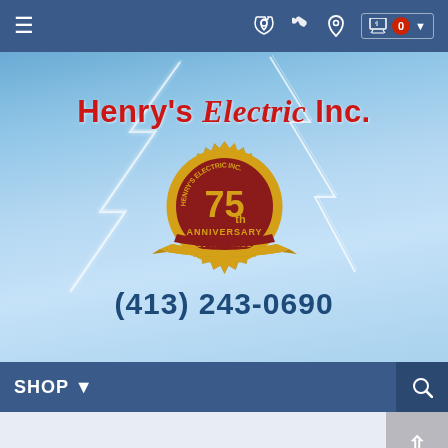≡  📞 📍 🛒 0 ▾
[Figure (logo): Henry's Electric Inc. website header with lightning bolt background, 75th Anniversary badge (1946-2021), and phone number (413) 243-0690]
SHOP ▾  🔍
Electrical Contracting